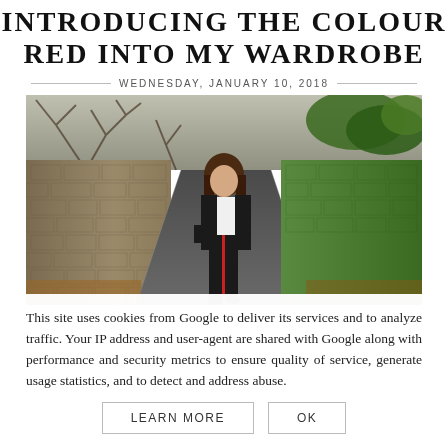INTRODUCING THE COLOUR RED INTO MY WARDROBE
WEDNESDAY, JANUARY 10, 2018
[Figure (photo): A young woman with long brown hair wearing a white shirt, black jacket, and black trousers with a red stripe, walking down a narrow lane flanked by stone walls and trees.]
This site uses cookies from Google to deliver its services and to analyze traffic. Your IP address and user-agent are shared with Google along with performance and security metrics to ensure quality of service, generate usage statistics, and to detect and address abuse.
LEARN MORE    OK